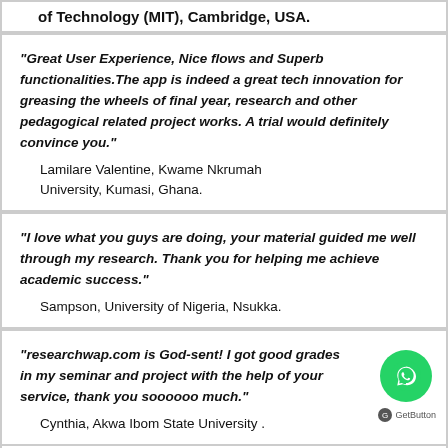of Technology (MIT), Cambridge, USA.
"Great User Experience, Nice flows and Superb functionalities.The app is indeed a great tech innovation for greasing the wheels of final year, research and other pedagogical related project works. A trial would definitely convince you."
    Lamilare Valentine, Kwame Nkrumah University, Kumasi, Ghana.
"I love what you guys are doing, your material guided me well through my research. Thank you for helping me achieve academic success."
    Sampson, University of Nigeria, Nsukka.
"researchwap.com is God-sent! I got good grades in my seminar and project with the help of your service, thank you soooooo much."
    Cynthia, Akwa Ibom State University .